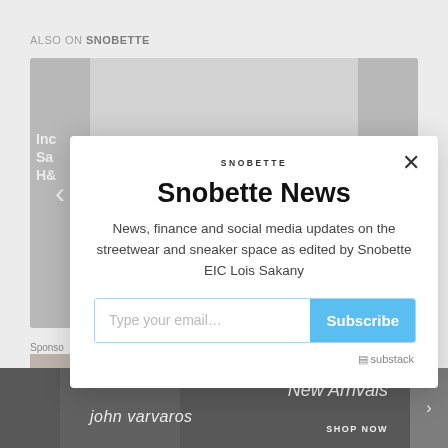ALSO ON SNOBETTE
[Figure (screenshot): Carousel slider with left and right navigation arrows and content cards visible on left and right sides. Left card shows partial text: 'Inc', 'Sa', 'H&'. Right card shows partial text: 'cre'.]
Sponsored
[Figure (photo): John Varvatos advertisement banner with dark background showing a person, text 'john varvaros', 'New Arrivals', 'SHOP NOW']
Snobette News
News, finance and social media updates on the streetwear and sneaker space as edited by Snobette EIC Lois Sakany
Type your email…
Subscribe
substack